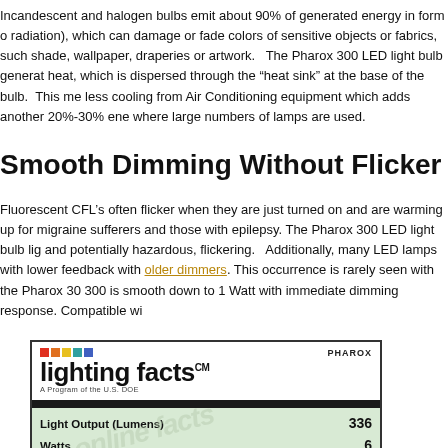Incandescent and halogen bulbs emit about 90% of generated energy in form of radiation), which can damage or fade colors of sensitive objects or fabrics, such shade, wallpaper, draperies or artwork.   The Pharox 300 LED light bulb generat heat, which is dispersed through the "heat sink" at the base of the bulb.  This me less cooling from Air Conditioning equipment which adds another 20%-30% ene where large numbers of lamps are used.
Smooth Dimming Without Flicker
Fluorescent CFL's often flicker when they are just turned on and are warming up for migraine sufferers and those with epilepsy. The Pharox 300 LED light bulb lig and potentially hazardous, flickering.   Additionally, many LED lamps with lower feedback with older dimmers. This occurrence is rarely seen with the Pharox 30 300 is smooth down to 1 Watt with immediate dimming response. Compatible wi
[Figure (other): Lighting Facts label for Pharox LED bulb showing: Light Output (Lumens) 336, Watts 6, Lumens per Watt (Efficacy) 60, Color Accuracy 86, with PHAROX branding and colored dots logo. A Program of the U.S. DOE.]